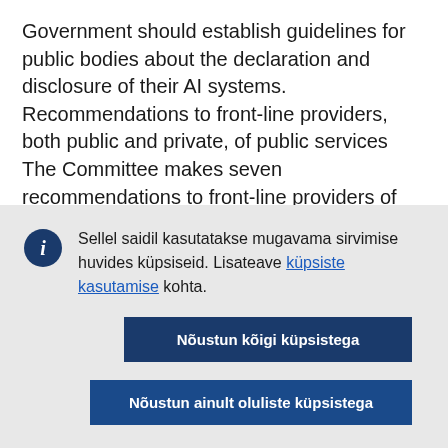Government should establish guidelines for public bodies about the declaration and disclosure of their AI systems. Recommendations to front-line providers, both public and private, of public services The Committee makes seven recommendations to front-line providers of public services to help establish effective risk-based governance for the use of AI
Sellel saidil kasutatakse mugavama sirvimise huvides küpsiseid. Lisateave küpsiste kasutamise kohta.
Nõustun kõigi küpsistega
Nõustun ainult oluliste küpsistega